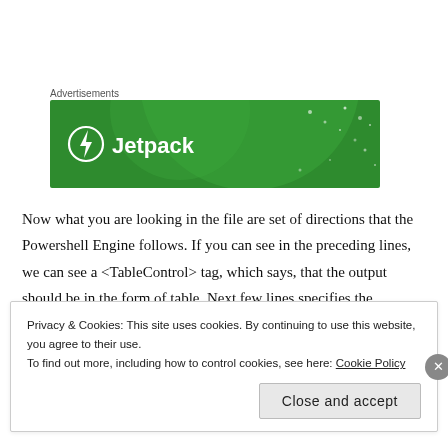Advertisements
[Figure (logo): Jetpack advertisement banner with green background, circular logo with lightning bolt, and 'Jetpack' text in white]
Now what you are looking in the file are set of directions that the Powershell Engine follows. If you can see in the preceding lines, we can see a <TableControl> tag, which says, that the output should be in the form of table. Next few lines specifies the attributes of the table, such as Width and Height.
Privacy & Cookies: This site uses cookies. By continuing to use this website, you agree to their use.
To find out more, including how to control cookies, see here: Cookie Policy
Close and accept